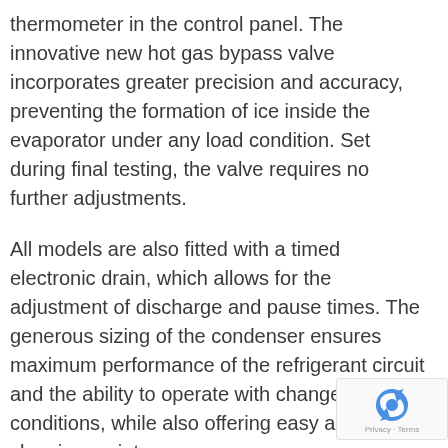thermometer in the control panel. The innovative new hot gas bypass valve incorporates greater precision and accuracy, preventing the formation of ice inside the evaporator under any load condition. Set during final testing, the valve requires no further adjustments.
All models are also fitted with a timed electronic drain, which allows for the adjustment of discharge and pause times. The generous sizing of the condenser ensures maximum performance of the refrigerant circuit and the ability to operate with changes in conditions, while also offering easy access for cleaning maintenance.